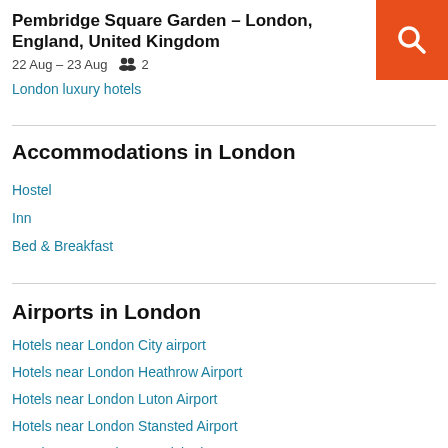Pembridge Square Garden – London, England, United Kingdom
22 Aug – 23 Aug   2
London luxury hotels
Accommodations in London
Hostel
Inn
Bed & Breakfast
Airports in London
Hotels near London City airport
Hotels near London Heathrow Airport
Hotels near London Luton Airport
Hotels near London Stansted Airport
Hotels near London Gatwick Airport